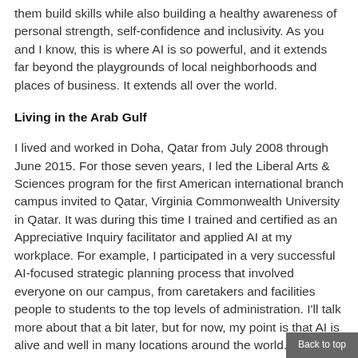them build skills while also building a healthy awareness of personal strength, self-confidence and inclusivity. As you and I know, this is where AI is so powerful, and it extends far beyond the playgrounds of local neighborhoods and places of business. It extends all over the world.
Living in the Arab Gulf
I lived and worked in Doha, Qatar from July 2008 through June 2015. For those seven years, I led the Liberal Arts & Sciences program for the first American international branch campus invited to Qatar, Virginia Commonwealth University in Qatar. It was during this time I trained and certified as an Appreciative Inquiry facilitator and applied AI at my workplace. For example, I participated in a very successful AI-focused strategic planning process that involved everyone on our campus, from caretakers and facilities people to students to the top levels of administration. I'll talk more about that a bit later, but for now, my point is that AI is alive and well in many locations around the world. There isn't space in this
Back to top